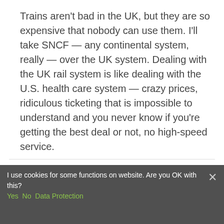Trains aren't bad in the UK, but they are so expensive that nobody can use them. I'll take SNCF — any continental system, really — over the UK system. Dealing with the UK rail system is like dealing with the U.S. health care system — crazy prices, ridiculous ticketing that is impossible to understand and you never know if you're getting the best deal or not, no high-speed service.
Anthony
11.04.2018 at 20:28 · Reply
Yes  No  Data Protection
At the moment, I'd argue Italy has one of
I use cookies for some functions on website. Are you OK with this?